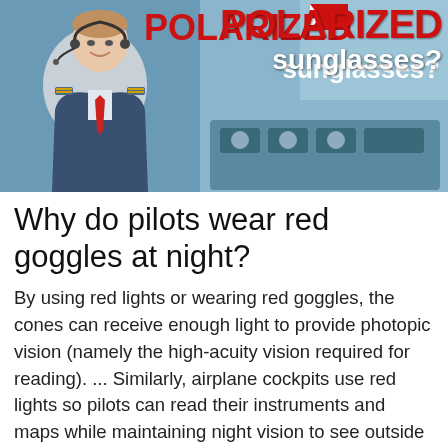[Figure (photo): A pilot in uniform smiling in a cockpit, with text overlay reading 'POLARIZED sunglasses?' in red and white on a blue background]
Why do pilots wear red goggles at night?
By using red lights or wearing red goggles, the cones can receive enough light to provide photopic vision (namely the high-acuity vision required for reading). ... Similarly, airplane cockpits use red lights so pilots can read their instruments and maps while maintaining night vision to see outside the aircraft.
Why do pilots don't have